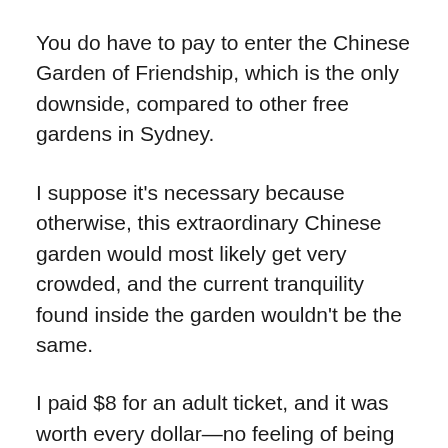You do have to pay to enter the Chinese Garden of Friendship, which is the only downside, compared to other free gardens in Sydney.
I suppose it's necessary because otherwise, this extraordinary Chinese garden would most likely get very crowded, and the current tranquility found inside the garden wouldn't be the same.
I paid $8 for an adult ticket, and it was worth every dollar—no feeling of being robbed at all.
The first view that took my breath away appeared to be an Asian-style temple on the other side of a lake. I later learned that this lake is known as the